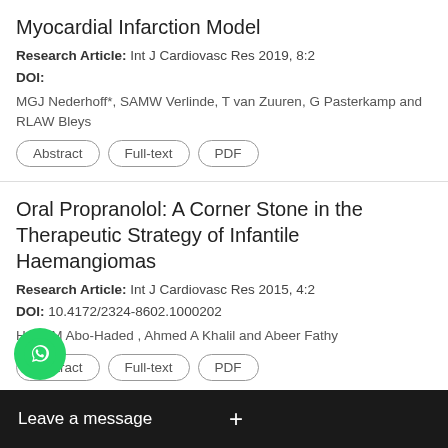Myocardial Infarction Model
Research Article: Int J Cardiovasc Res 2019, 8:2
DOI:
MGJ Nederhoff*, SAMW Verlinde, T van Zuuren, G Pasterkamp and RLAW Bleys
Abstract | Full-text | PDF
Oral Propranolol: A Corner Stone in the Therapeutic Strategy of Infantile Haemangiomas
Research Article: Int J Cardiovasc Res 2015, 4:2
DOI: 10.4172/2324-8602.1000202
Hany M Abo-Haded , Ahmed A Khalil and Abeer Fathy
Abstract | Full-text | PDF
Coronary Risk Estimation According to the Framingham-Wilson Score: Epidemiologic vior of Innovative Cardio Metabolic Risk y
Rese